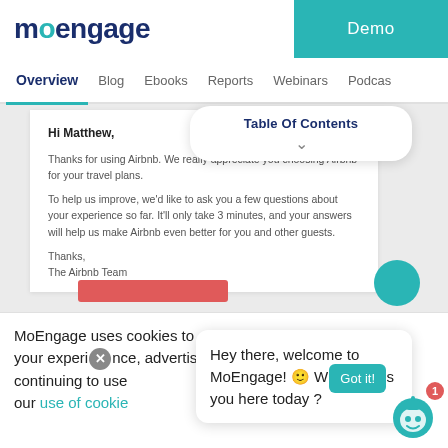moengage
Demo
Overview  Blog  Ebooks  Reports  Webinars  Podcas
Table Of Contents
Hi Matthew,

Thanks for using Airbnb. We really appreciate you choosing Airbnb for your travel plans.

To help us improve, we'd like to ask you a few questions about your experience so far. It'll only take 3 minutes, and your answers will help us make Airbnb even better for you and other guests.

Thanks,
The Airbnb Team
MoEngage uses cookies to enhance your experience, advertising and continuing to use our use of cookie
Hey there, welcome to MoEngage! 🙂 What brings you here today ?